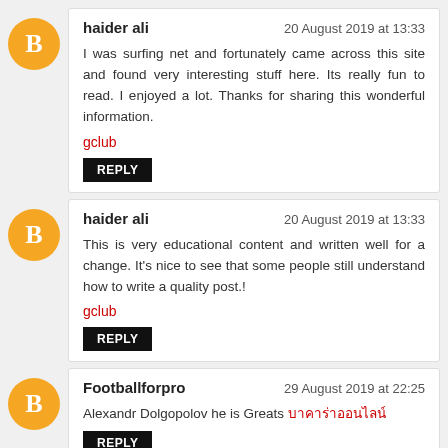haider ali — 20 August 2019 at 13:33
I was surfing net and fortunately came across this site and found very interesting stuff here. Its really fun to read. I enjoyed a lot. Thanks for sharing this wonderful information.
gclub
Reply
haider ali — 20 August 2019 at 13:33
This is very educational content and written well for a change. It's nice to see that some people still understand how to write a quality post.!
gclub
Reply
Footballforpro — 29 August 2019 at 22:25
Alexandr Dolgopolov he is Greats บาคาร่าออนไลน์
Reply